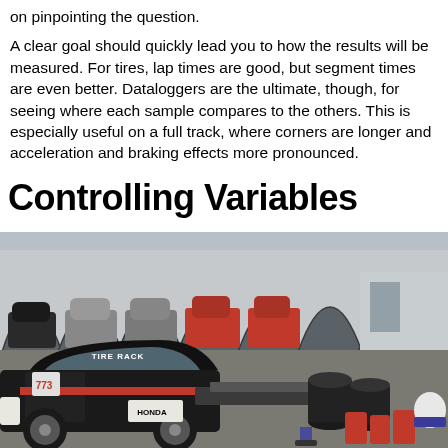on pinpointing the question.

A clear goal should quickly lead you to how the results will be measured. For tires, lap times are good, but segment times are even better. Dataloggers are the ultimate, though, for seeing where each sample compares to the others. This is especially useful on a full track, where corners are longer and acceleration and braking effects more pronounced.
Controlling Variables
[Figure (photo): A race-prepped Honda Civic with Tire Rack livery parked in front of open carport-style garage bays containing various cars. Stacks of tires, red fuel jugs, and racing equipment visible in the foreground.]